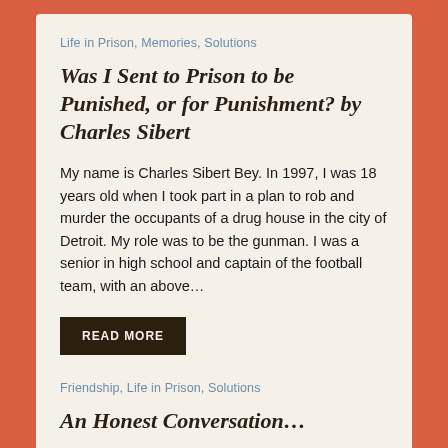Life in Prison, Memories, Solutions
Was I Sent to Prison to be Punished, or for Punishment? by Charles Sibert
My name is Charles Sibert Bey. In 1997, I was 18 years old when I took part in a plan to rob and murder the occupants of a drug house in the city of Detroit. My role was to be the gunman. I was a senior in high school and captain of the football team, with an above…
READ MORE
Friendship, Life in Prison, Solutions
An Honest Conversation…